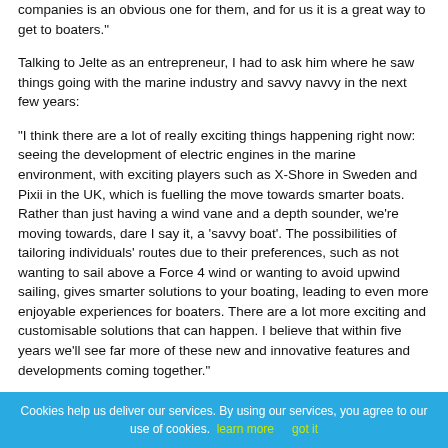companies is an obvious one for them, and for us it is a great way to get to boaters."
Talking to Jelte as an entrepreneur, I had to ask him where he saw things going with the marine industry and savvy navvy in the next few years:
"I think there are a lot of really exciting things happening right now: seeing the development of electric engines in the marine environment, with exciting players such as X-Shore in Sweden and Pixii in the UK, which is fuelling the move towards smarter boats. Rather than just having a wind vane and a depth sounder, we're moving towards, dare I say it, a 'savvy boat'. The possibilities of tailoring individuals' routes due to their preferences, such as not wanting to sail above a Force 4 wind or wanting to avoid upwind sailing, gives smarter solutions to your boating, leading to even more enjoyable experiences for boaters. There are a lot more exciting and customisable solutions that can happen. I believe that within five years we'll see far more of these new and innovative features and developments coming together."
Cookies help us deliver our services. By using our services, you agree to our use of cookies. learn more   got it